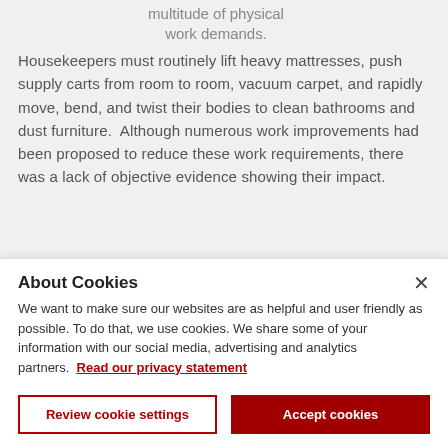multitude of physical work demands.
Housekeepers must routinely lift heavy mattresses, push supply carts from room to room, vacuum carpet, and rapidly move, bend, and twist their bodies to clean bathrooms and dust furniture.  Although numerous work improvements had been proposed to reduce these work requirements, there was a lack of objective evidence showing their impact.
Action Taken
About Cookies
We want to make sure our websites are as helpful and user friendly as possible. To do that, we use cookies. We share some of your information with our social media, advertising and analytics partners.  Read our privacy statement
Review cookie settings
Accept cookies